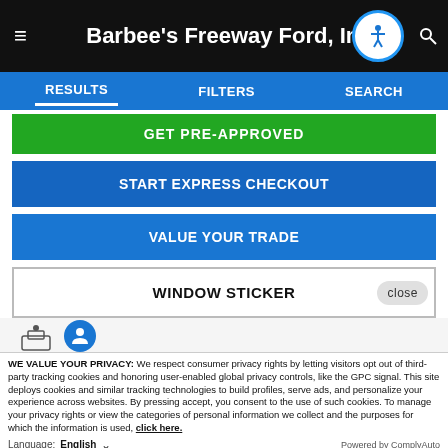Barbee's Freeway Ford, Inc.
RESULTS   FILTERS   SEARCH
GET PRE-APPROVED
START EXPRESS CHECKOUT
VALUE YOUR TRADE
WINDOW STICKER
WE VALUE YOUR PRIVACY: We respect consumer privacy rights by letting visitors opt out of third-party tracking cookies and honoring user-enabled global privacy controls, like the GPC signal. This site deploys cookies and similar tracking technologies to build profiles, serve ads, and personalize your experience across websites. By pressing accept, you consent to the use of such cookies. To manage your privacy rights or view the categories of personal information we collect and the purposes for which the information is used, click here.
Language: English   ∨   Powered by ComplyAuto
Accept and Continue →   Privacy Policy   ×